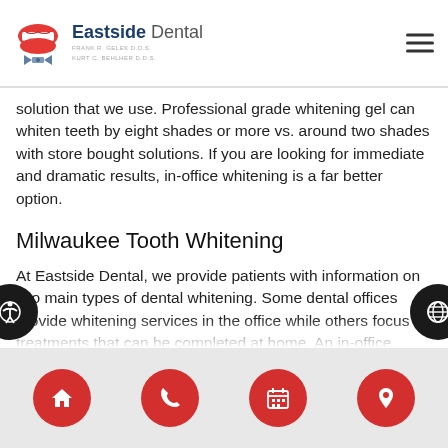Eastside Dental — Frank R. Gelek D.D.S., Kurt C. Behlher D.D.S.
solution that we use. Professional grade whitening gel can whiten teeth by eight shades or more vs. around two shades with store bought solutions. If you are looking for immediate and dramatic results, in-office whitening is a far better option.
Milwaukee Tooth Whitening
At Eastside Dental, we provide patients with information on two main types of dental whitening. Some dental offices provide whitening services in the office while others focus on treatments that can be completed at home. An in-office treatment can be done at the same time as a tooth cleaning or